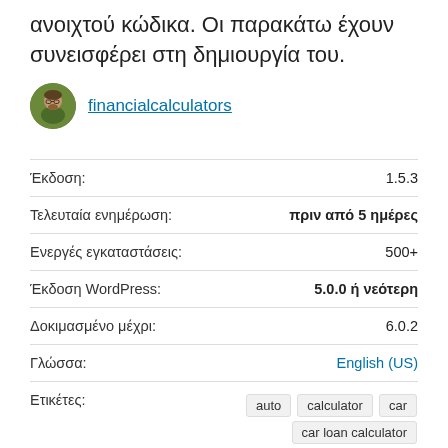ανοιχτού κώδικα. Οι παρακάτω έχουν συνεισφέρει στη δημιουργία του.
[Figure (photo): Circular avatar photo of a person with glasses, and a link labeled financialcalculators]
| Label | Value |
| --- | --- |
| Έκδοση: | 1.5.3 |
| Τελευταία ενημέρωση: | πριν από 5 ημέρες |
| Ενεργές εγκαταστάσεις: | 500+ |
| Έκδοση WordPress: | 5.0.0 ή νεότερη |
| Δοκιμασμένο μέχρι: | 6.0.2 |
| Γλώσσα: | English (US) |
| Ετικέτες: | auto  calculator  car  car loan calculator  loan |